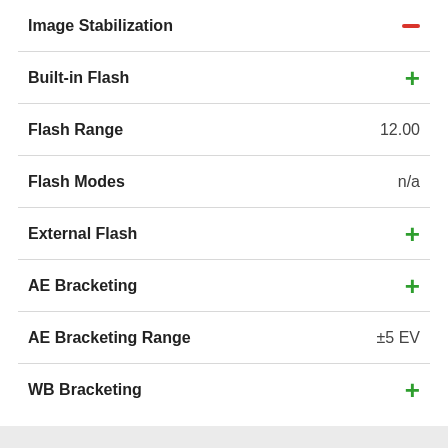| Feature | Value |
| --- | --- |
| Image Stabilization | — |
| Built-in Flash | + |
| Flash Range | 12.00 |
| Flash Modes | n/a |
| External Flash | + |
| AE Bracketing | + |
| AE Bracketing Range | ±5 EV |
| WB Bracketing | + |
Sensor
| Feature | Value |
| --- | --- |
| Sensor Size | APS-C |